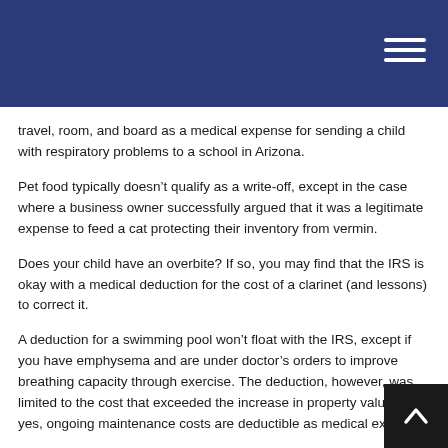travel, room, and board as a medical expense for sending a child with respiratory problems to a school in Arizona.
Pet food typically doesn’t qualify as a write-off, except in the case where a business owner successfully argued that it was a legitimate expense to feed a cat protecting their inventory from vermin.
Does your child have an overbite? If so, you may find that the IRS is okay with a medical deduction for the cost of a clarinet (and lessons) to correct it.
A deduction for a swimming pool won’t float with the IRS, except if you have emphysema and are under doctor’s orders to improve breathing capacity through exercise. The deduction, however, was limited to the cost that exceeded the increase in property value. And yes, ongoing maintenance costs are deductible as medical expenses